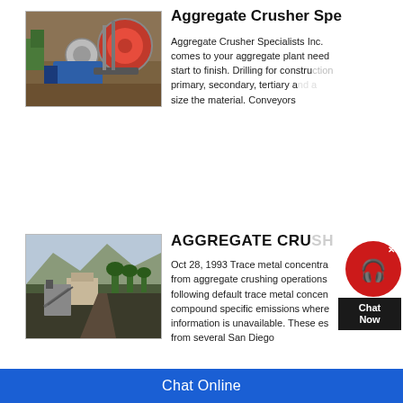Aggregate Crusher Spe...
[Figure (photo): Aerial/ground view of aggregate crusher machine with large drums and conveyor equipment]
Aggregate Crusher Specialists Inc. comes to your aggregate plant needs start to finish. Drilling for construction primary, secondary, tertiary and size the material. Conveyors
[Figure (photo): Aerial view of a quarry or aggregate crushing facility with buildings, conveyors, and surrounding landscape]
AGGREGATE CRU...
Oct 28, 1993 Trace metal concentra from aggregate crushing operations following default trace metal concen compound specific emissions where information is unavailable. These es from several San Diego
Chat Online